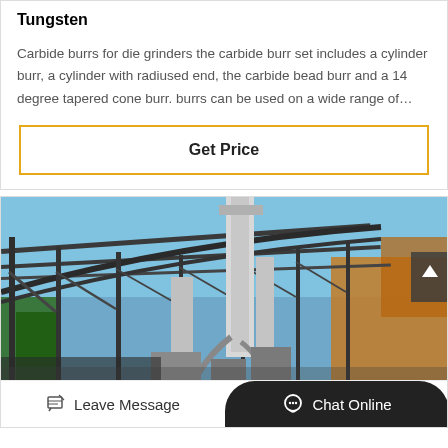Tungsten
Carbide burrs for die grinders the carbide burr set includes a cylinder burr, a cylinder with radiused end, the carbide bead burr and a 14 degree tapered cone burr. burrs can be used on a wide range of…
Get Price
[Figure (photo): Industrial facility with a steel frame structure/canopy in the foreground and large industrial silos/chimney stacks in the background against a blue sky with autumn trees visible.]
Leave Message
Chat Online